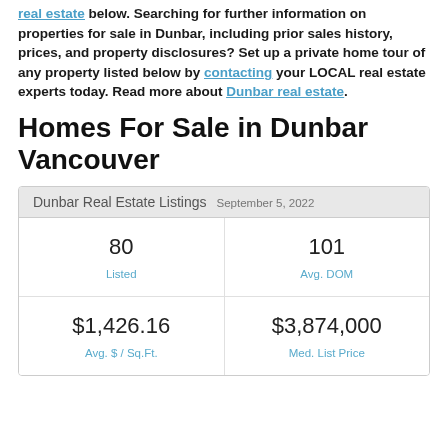real estate below. Searching for further information on properties for sale in Dunbar, including prior sales history, prices, and property disclosures? Set up a private home tour of any property listed below by contacting your LOCAL real estate experts today. Read more about Dunbar real estate.
Homes For Sale in Dunbar Vancouver
| Dunbar Real Estate Listings | September 5, 2022 |
| --- | --- |
| 80 Listed | 101 Avg. DOM |
| $1,426.16 Avg. $ / Sq.Ft. | $3,874,000 Med. List Price |